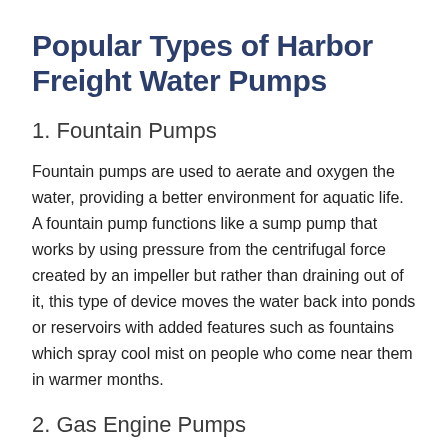Popular Types of Harbor Freight Water Pumps
1. Fountain Pumps
Fountain pumps are used to aerate and oxygen the water, providing a better environment for aquatic life. A fountain pump functions like a sump pump that works by using pressure from the centrifugal force created by an impeller but rather than draining out of it, this type of device moves the water back into ponds or reservoirs with added features such as fountains which spray cool mist on people who come near them in warmer months.
2. Gas Engine Pumps